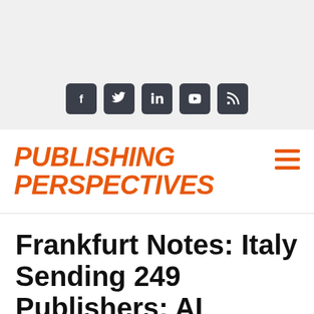[Figure (other): Social media icons bar: Facebook, Twitter, LinkedIn, YouTube, RSS feed icons on gray background]
[Figure (logo): Publishing Perspectives logo in orange italic bold text, with hamburger menu icon in orange on the right]
Frankfurt Notes: Italy Sending 249 Publishers; AI Survey at the Buchmesse